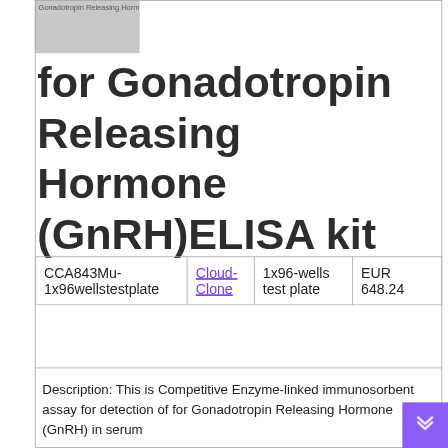[Figure (other): Product image thumbnail showing label text 'Gonadotropin Releasing Hormone GnRHELI']
for Gonadotropin Releasing Hormone (GnRH)ELISA kit
| CCA843Mu-1x96wellstestplate | Cloud-Clone | 1x96-wells test plate | EUR 648.24 |
Description: This is Competitive Enzyme-linked immunosorbent assay for detection of for Gonadotropin Releasing Hormone (GnRH) in serum